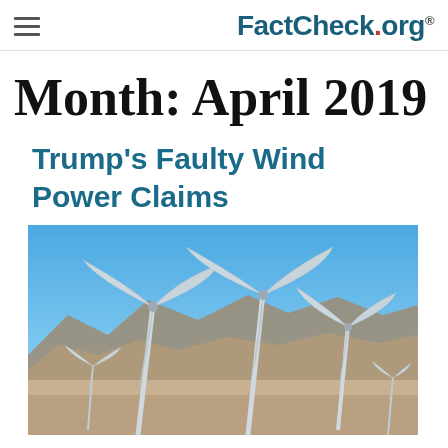FactCheck.org
Month: April 2019
Trump's Faulty Wind Power Claims
[Figure (photo): Photograph of wind turbines against a blue sky with mountains in the background]